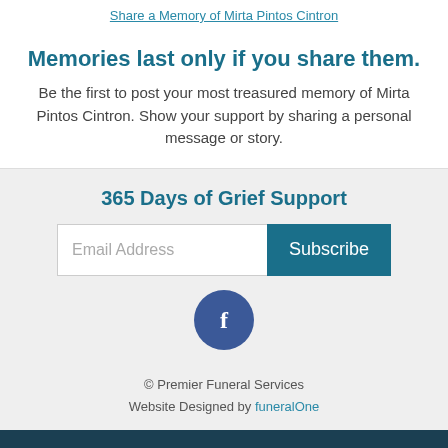Share a Memory of Mirta Pintos Cintron
Memories last only if you share them.
Be the first to post your most treasured memory of Mirta Pintos Cintron. Show your support by sharing a personal message or story.
365 Days of Grief Support
Email Address [input] Subscribe [button]
[Figure (logo): Facebook circular icon with white 'f' on dark blue background]
© Premier Funeral Services
Website Designed by funeralOne
CONTACT | OBITUARIES | ABOUT